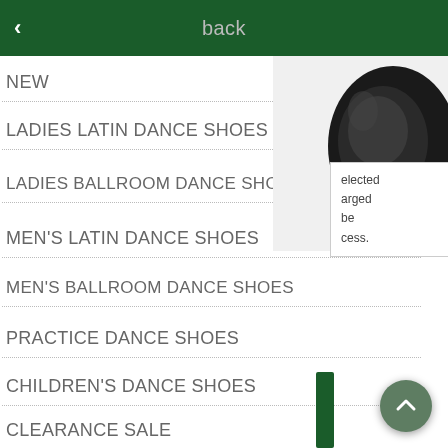back
NEW
LADIES LATIN DANCE SHOES
LADIES BALLROOM DANCE SHOES
MEN'S LATIN DANCE SHOES
MEN'S BALLROOM DANCE SHOES
PRACTICE DANCE SHOES
CHILDREN'S DANCE SHOES
CLEARANCE SALE
[Figure (photo): Close-up of a black dance shoe heel against white background]
elected arged be cess.